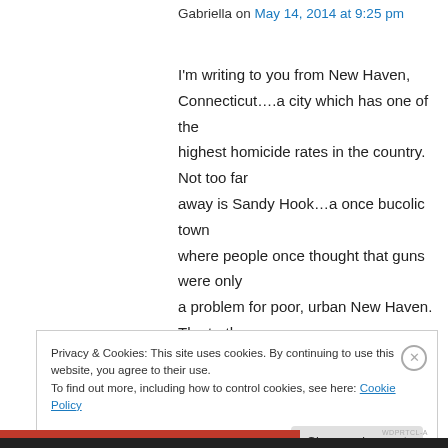Gabriella on May 14, 2014 at 9:25 pm
I'm writing to you from New Haven, Connecticut….a city which has one of the highest homicide rates in the country. Not too far away is Sandy Hook…a once bucolic town where people once thought that guns were only a problem for poor, urban New Haven. The truth is we are ALL wounded by gun violence. Rich or poor, black or white, old or young. Gun violence can only be described as madness….as your
Privacy & Cookies: This site uses cookies. By continuing to use this website, you agree to their use.
To find out more, including how to control cookies, see here: Cookie Policy
Close and accept